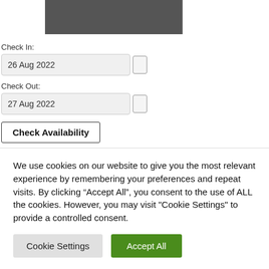[Figure (photo): Dark gray/brown textured surface photo, cropped at top]
Check In:
26 Aug 2022
Check Out:
27 Aug 2022
Check Availability
We use cookies on our website to give you the most relevant experience by remembering your preferences and repeat visits. By clicking “Accept All”, you consent to the use of ALL the cookies. However, you may visit "Cookie Settings" to provide a controlled consent.
Cookie Settings
Accept All